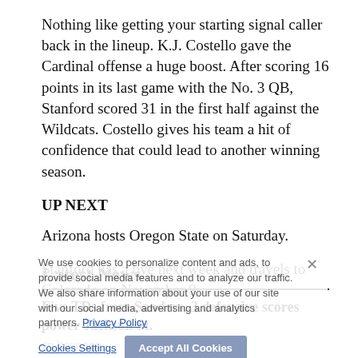Nothing like getting your starting signal caller back in the lineup. K.J. Costello gave the Cardinal offense a huge boost. After scoring 16 points in its last game with the No. 3 QB, Stanford scored 31 in the first half against the Wildcats. Costello gives his team a hit of confidence that could lead to another winning season.
UP NEXT
Arizona hosts Oregon State on Saturday.
Stanford has a bye next week and travels to Colorado on November 9.
Latest News
Five TDs from Sanders, 3 defensive scores power Jackson St.
an hour ago
We use cookies to personalize content and ads, to provide social media features and to analyze our traffic. We also share information about your use of our site with our social media, advertising and analytics partners. Privacy Policy